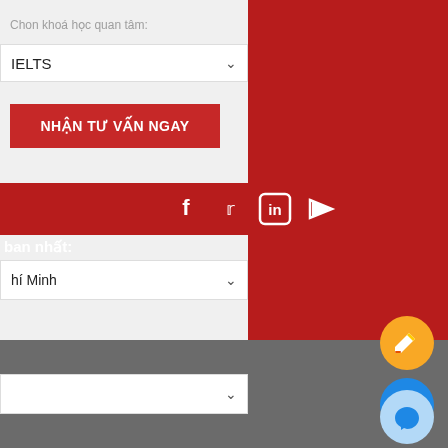Chon khoa hoc quan tam:
IELTS
NHẬN TƯ VẤN NGAY
[Figure (infographic): Social media icons row: Facebook, Twitter, LinkedIn, YouTube in white on red background]
ban nhat:
hi Minh
[Figure (infographic): Yellow circular button with pencil/edit icon]
[Figure (infographic): Blue circular button with phone icon]
[Figure (infographic): Light blue circular button with messenger/chat icon]